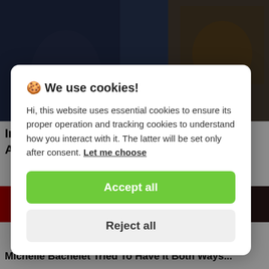[Figure (photo): Dark photo showing a person with blurred background, partially visible, dark blue and brown tones]
Iran Condemns Deadly Mosque Bombing Attack In Afghanistan ...
[Figure (photo): Red background partial news article image]
🍪 We use cookies!

Hi, this website uses essential cookies to ensure its proper operation and tracking cookies to understand how you interact with it. The latter will be set only after consent. Let me choose
Accept all
Reject all
Michelle Bachelet Tried To Have It Both Ways...